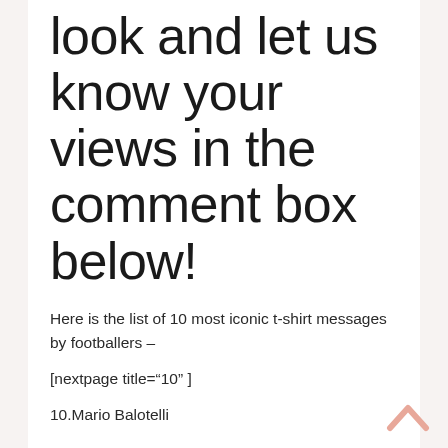look and let us know your views in the comment box below!
Here is the list of 10 most iconic t-shirt messages by footballers –
[nextpage title="10" ]
10.Mario Balotelli